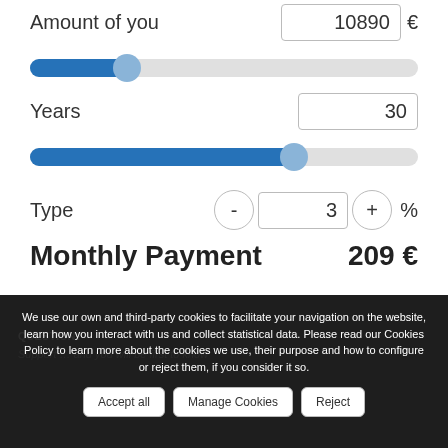Amount of you   10890 €
[Figure (other): Horizontal slider for amount, filled ~25% with blue]
Years   30
[Figure (other): Horizontal slider for years, filled ~68% with blue]
Type   - 3 + %
Monthly Payment   209 €
We use our own and third-party cookies to facilitate your navigation on the website, learn how you interact with us and collect statistical data. Please read our Cookies Policy to learn more about the cookies we use, their purpose and how to configure or reject them, if you consider it so.
Accept all   Manage Cookies   Reject
QUESTION?
Support ... and you will be first to know